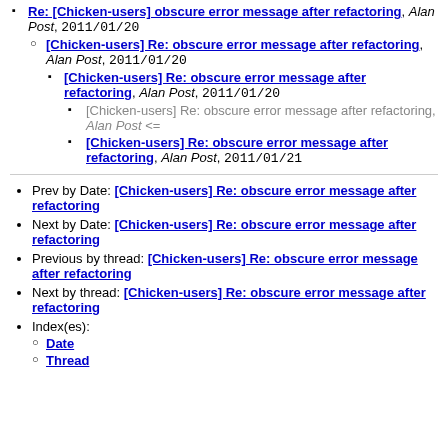Re: [Chicken-users] obscure error message after refactoring, Alan Post, 2011/01/20
[Chicken-users] Re: obscure error message after refactoring, Alan Post, 2011/01/20
[Chicken-users] Re: obscure error message after refactoring, Alan Post, 2011/01/20
[Chicken-users] Re: obscure error message after refactoring, Alan Post <=
[Chicken-users] Re: obscure error message after refactoring, Alan Post, 2011/01/21
Prev by Date: [Chicken-users] Re: obscure error message after refactoring
Next by Date: [Chicken-users] Re: obscure error message after refactoring
Previous by thread: [Chicken-users] Re: obscure error message after refactoring
Next by thread: [Chicken-users] Re: obscure error message after refactoring
Index(es):
Date
Thread